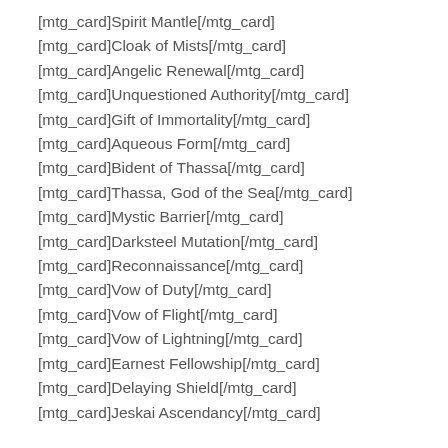[mtg_card]Spirit Mantle[/mtg_card]
[mtg_card]Cloak of Mists[/mtg_card]
[mtg_card]Angelic Renewal[/mtg_card]
[mtg_card]Unquestioned Authority[/mtg_card]
[mtg_card]Gift of Immortality[/mtg_card]
[mtg_card]Aqueous Form[/mtg_card]
[mtg_card]Bident of Thassa[/mtg_card]
[mtg_card]Thassa, God of the Sea[/mtg_card]
[mtg_card]Mystic Barrier[/mtg_card]
[mtg_card]Darksteel Mutation[/mtg_card]
[mtg_card]Reconnaissance[/mtg_card]
[mtg_card]Vow of Duty[/mtg_card]
[mtg_card]Vow of Flight[/mtg_card]
[mtg_card]Vow of Lightning[/mtg_card]
[mtg_card]Earnest Fellowship[/mtg_card]
[mtg_card]Delaying Shield[/mtg_card]
[mtg_card]Jeskai Ascendancy[/mtg_card]